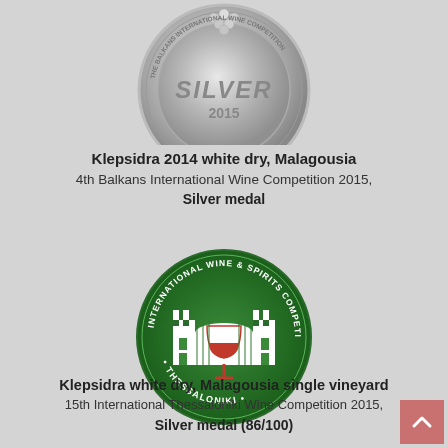[Figure (illustration): Silver medal from The Balkans International Wine Competition 2015, showing the word SILVER and 2015 on a circular silver medal with grape motif and text around the edge]
Klepsidra 2014 white dry, Malagousia
4th Balkans International Wine Competition 2015,
Silver medal
[Figure (logo): International Wine & Spirits Competition logo - circular green badge with a castle and wine glass image in the center and text THESSALONIKI around the bottom]
Klepsidra white dry, Malagousia single vineyard
15th International Thessaloniki Wine Competition 2015,
Silver medal (86/100)